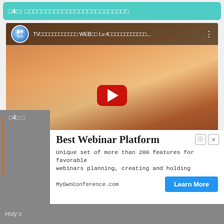４話 ロウきゅーべっとのアニメ映像
[Figure (screenshot): YouTube video thumbnail showing an anime girl with brown hair in a school setting. Video title: TVアニメ「ロウきゅーべ！ss」WEB版 Lv.4「ロウきゅーべっとのアニメ映像」...]
[Figure (infographic): Advertisement for Best Webinar Platform by MyOwnConference.com with Learn More button]
Holy s
４4話 D